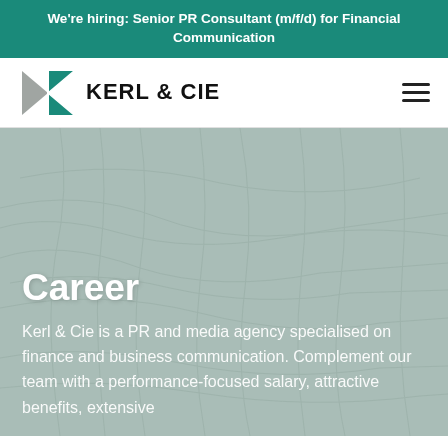We're hiring: Senior PR Consultant (m/f/d) for Financial Communication
[Figure (logo): Kerl & Cie logo: a geometric K-shaped mark in teal and grey, followed by the text KERL & CIE in bold black]
Career
Kerl & Cie is a PR and media agency specialised on finance and business communication. Complement our team with a performance-focused salary, attractive benefits, extensive